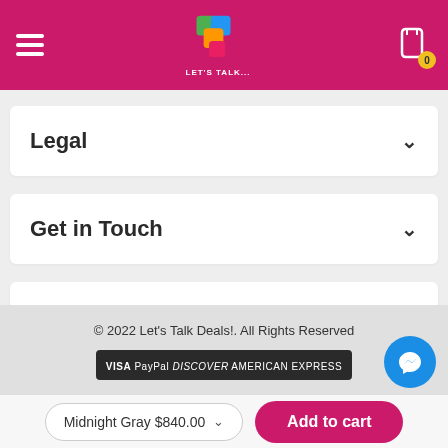Let's Talk - navigation header with logo and cart
Legal
Get in Touch
Accessories
© 2022 Let's Talk Deals!. All Rights Reserved
[Figure (logo): Payment methods: VISA, PayPal, Discover, American Express]
Midnight Gray $840.00
Add to cart